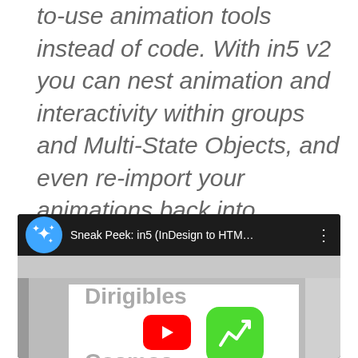to-use animation tools instead of code. With in5 v2 you can nest animation and interactivity within groups and Multi-State Objects, and even re-import your animations back into InDesign to use them in Adobe DPS projects.
[Figure (screenshot): YouTube video thumbnail/player showing 'Sneak Peek: in5 (InDesign to HTM...' with an InDesign application screenshot visible showing 'Dirigibles' and 'Cosmos' text with app icons including a green stock chart icon and purple icon, plus a red YouTube play button overlay.]